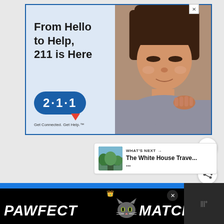[Figure (infographic): Advertisement banner: '211 is Here' service ad with photo of child and 2·1·1 logo pill with tagline 'Get Connected. Get Help.']
[Figure (infographic): Bottom banner advertisement for 'PAWFECT MATCH' with cat image on dark background with blue top bar]
WHAT'S NEXT → The White House Trave...
•••